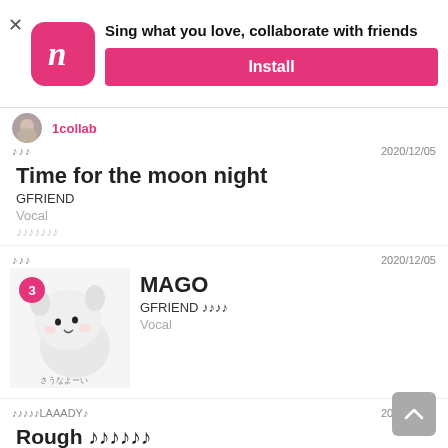[Figure (screenshot): App install banner for Nana karaoke app with pink logo, tagline and install button]
1collab
♩♩♩   2020/12/05
Time for the moon night
GFRIEND
Vocal
♩♩♩♩♩♩♩
♩♩♩   2020/12/05
[Figure (photo): Cute white stuffed animal character thumbnail with pink badge showing number 3]
MAGO
GFRIEND ♩♩♩♩
Vocal
♩♩♩♩♩LAAADY♩   2020/12/02
Rough ♩♩♩♩♩♩
GFRIEND
Not Selected